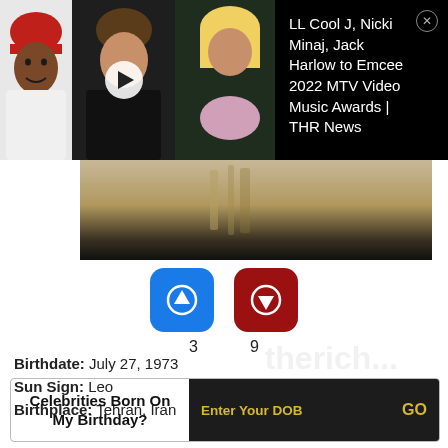[Figure (screenshot): Video thumbnail banner showing LL Cool J, Jack Harlow, and Nicki Minaj with a play button overlay]
LL Cool J, Nicki Minaj, Jack Harlow to Emcee 2022 MTV Video Music Awards | THR News
[Figure (photo): Photo strip showing a person at an event]
3
9
Birthdate: July 27, 1973
Sun Sign: Leo
Birthplace: Tehran, Iran
Celebrities Born On My Birthday?  Enter Your DOB  GO